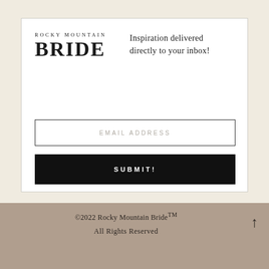ROCKY MOUNTAIN BRIDE
Inspiration delivered directly to your inbox!
EMAIL ADDRESS
SUBMIT!
©2022 Rocky Mountain Bride™
All Rights Reserved